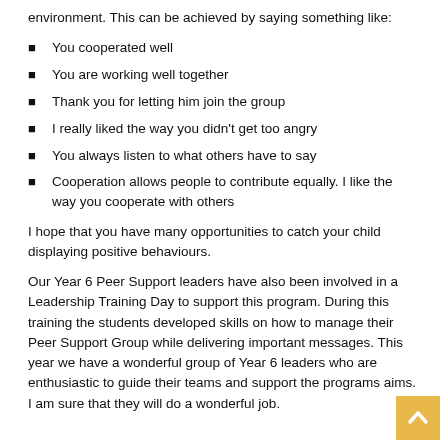environment. This can be achieved by saying something like:
You cooperated well
You are working well together
Thank you for letting him join the group
I really liked the way you didn't get too angry
You always listen to what others have to say
Cooperation allows people to contribute equally. I like the way you cooperate with others
I hope that you have many opportunities to catch your child displaying positive behaviours.
Our Year 6 Peer Support leaders have also been involved in a Leadership Training Day to support this program. During this training the students developed skills on how to manage their Peer Support Group while delivering important messages. This year we have a wonderful group of Year 6 leaders who are enthusiastic to guide their teams and support the programs aims. I am sure that they will do a wonderful job.